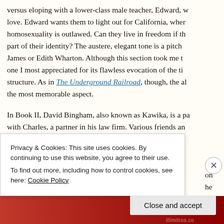versus eloping with a lower-class male teacher, Edward, who she loves. Edward wants them to light out for California, where homosexuality is outlawed. Can they live in freedom if they hide part of their identity? The austere, elegant tone is a pitch-perfect James or Edith Wharton. Although this section took me the longest, one I most appreciated for its flawless evocation of the time and structure. As in The Underground Railroad, though, the alternating is the most memorable aspect.
In Book II, David Bingham, also known as Kawika, is a partner with Charles, a partner in his law firm. Various friends and...
Privacy & Cookies: This site uses cookies. By continuing to use this website, you agree to their use.
To find out more, including how to control cookies, see here: Cookie Policy